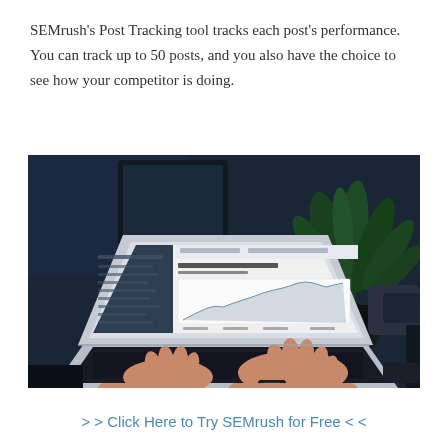SEMrush's Post Tracking tool tracks each post's performance. You can track up to 50 posts, and you also have the choice to see how your competitor is doing.
[Figure (photo): Person typing on a MacBook laptop showing Google Search Console analytics dashboard, with a green plant and dark background in a dimly lit room.]
> > Click Here to Try SEMrush for Free < <